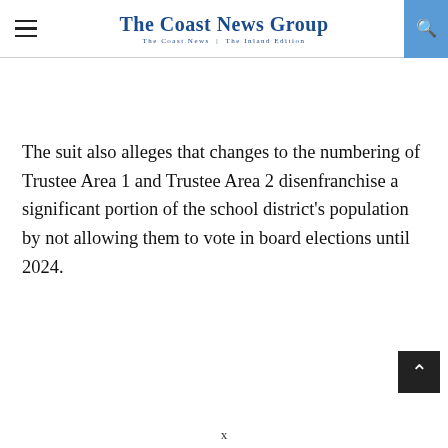The Coast News Group — The Coast News | The Inland Edition
The suit also alleges that changes to the numbering of Trustee Area 1 and Trustee Area 2 disenfranchise a significant portion of the school district's population by not allowing them to vote in board elections until 2024.